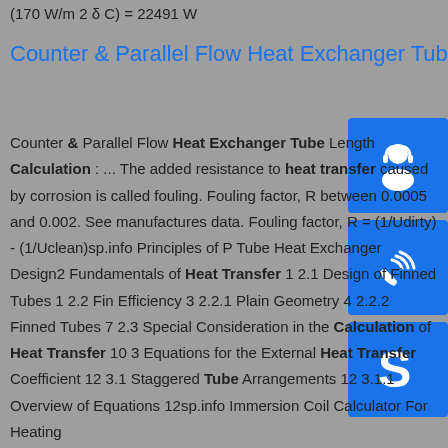Counter & Parallel Flow Heat Exchanger Tube Length ...
Counter & Parallel Flow Heat Exchanger Tube Length Calculation : ... The added resistance to heat transfer caused by corrosion is called fouling. Fouling factor, R between 0.0005 and 0.002. See manufactures data. Fouling factor, R = (1/Udirty) - (1/Uclean)sp.info Principles of Plate Tube Heat Exchanger Design2 Fundamentals of Heat Transfer 1 2.1 Design of Finned Tubes 1 2.2 Fin Efficiency 3 2.2.1 Plain Geometry 4 2.2.2 Finned Tubes 7 2.3 Special Consideration in the Calculation of Heat Transfer 10 3 Equations for the External Heat Transfer Coefficient 12 3.1 Staggered Tube Arrangements 12 3.1.1 Overview of Equations 12sp.info Immersion Coil Calculator For Heating
[Figure (illustration): Blue square icon with white headset/support person silhouette]
[Figure (illustration): Blue square icon with white phone/call icon]
[Figure (illustration): Blue square icon with white Skype logo]